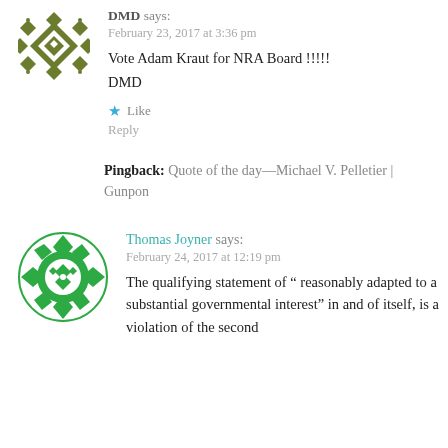[Figure (illustration): Dark olive/green geometric pattern avatar for user DMD]
DMD says:
February 23, 2017 at 3:36 pm
Vote Adam Kraut for NRA Board !!!!!
DMD
★ Like
Reply
Pingback: Quote of the day—Michael V. Pelletier | Gunpon
[Figure (illustration): Green geometric pattern avatar for user Thomas Joyner]
Thomas Joyner says:
February 24, 2017 at 12:19 pm
The qualifying statement of " reasonably adapted to a substantial governmental interest" in and of itself, is a violation of the second